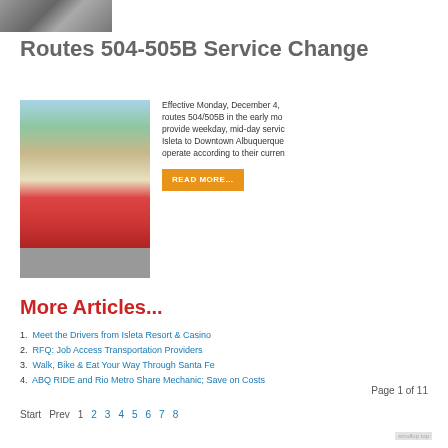[Figure (photo): Top portion of a photo showing railroad tracks]
Routes 504-505B Service Change
[Figure (photo): A red transit bus at a bus stop with trees in background]
Effective Monday, December 4, routes 504/505B in the early mo... provide weekday, mid-day servic... Isleta to Downtown Albuquerque... operate according to their curren...
READ MORE...
More Articles...
Meet the Drivers from Isleta Resort & Casino
RFQ: Job Access Transportation Providers
Walk, Bike & Eat Your Way Through Santa Fe
ABQ RIDE and Rio Metro Share Mechanic; Save on Costs
Page 1 of 11
Start  Prev  1  2  3  4  5  6  7  8